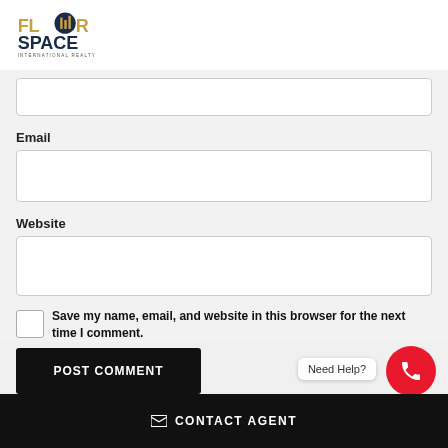[Figure (logo): Floor Space International Realty logo — stylized text with geometric building icon]
Email
Website
Save my name, email, and website in this browser for the next time I comment.
POST COMMENT
Need Help?
CONTACT AGENT